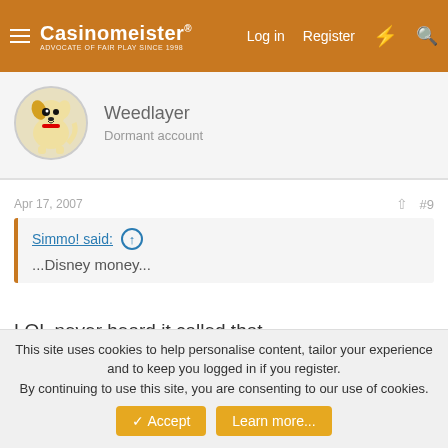Casinomeister — Log in  Register
[Figure (illustration): Casinomeister logo with cartoon dog avatar for user Weedlayer]
Weedlayer
Dormant account
Apr 17, 2007    #9
Simmo! said: ↑
...Disney money...
LOL never heard it called that.
?
This site uses cookies to help personalise content, tailor your experience and to keep you logged in if you register.
By continuing to use this site, you are consenting to our use of cookies.